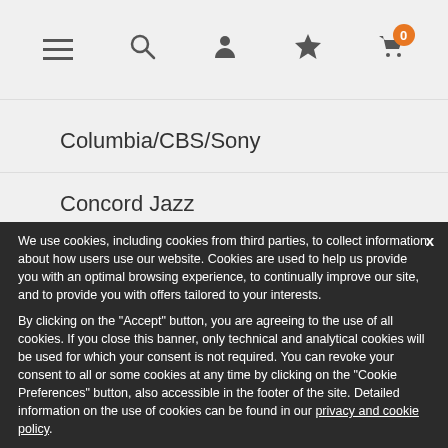Navigation bar with menu, search, profile, favorites, and cart icons
Columbia/CBS/Sony
Concord Jazz
CONTEMPORARY RECORDS
We use cookies, including cookies from third parties, to collect information about how users use our website. Cookies are used to help us provide you with an optimal browsing experience, to continually improve our site, and to provide you with offers tailored to your interests.

By clicking on the "Accept" button, you are agreeing to the use of all cookies. If you close this banner, only technical and analytical cookies will be used for which your consent is not required. You can revoke your consent to all or some cookies at any time by clicking on the "Cookie Preferences" button, also accessible in the footer of the site. Detailed information on the use of cookies can be found in our privacy and cookie policy.
Cookie preferences | accept